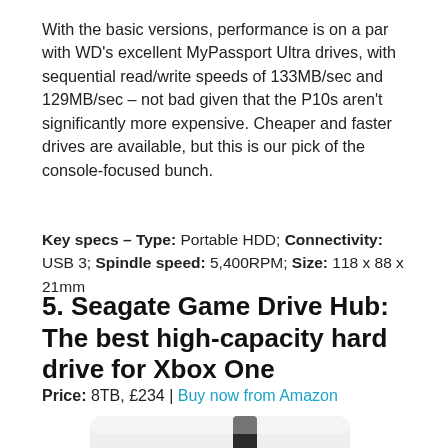With the basic versions, performance is on a par with WD's excellent MyPassport Ultra drives, with sequential read/write speeds of 133MB/sec and 129MB/sec – not bad given that the P10s aren't significantly more expensive. Cheaper and faster drives are available, but this is our pick of the console-focused bunch.
Key specs – Type: Portable HDD; Connectivity: USB 3; Spindle speed: 5,400RPM; Size: 118 x 88 x 21mm
5. Seagate Game Drive Hub: The best high-capacity hard drive for Xbox One
Price: 8TB, £234 | Buy now from Amazon
[Figure (photo): Seagate Game Drive Hub external hard drive — white rectangular unit with a black vertical stripe and Seagate logo]